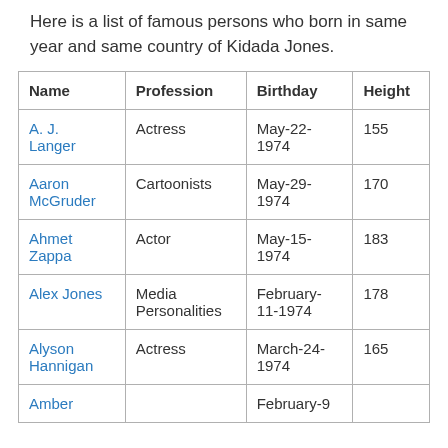Here is a list of famous persons who born in same year and same country of Kidada Jones.
| Name | Profession | Birthday | Height |
| --- | --- | --- | --- |
| A. J. Langer | Actress | May-22-1974 | 155 |
| Aaron McGruder | Cartoonists | May-29-1974 | 170 |
| Ahmet Zappa | Actor | May-15-1974 | 183 |
| Alex Jones | Media Personalities | February-11-1974 | 178 |
| Alyson Hannigan | Actress | March-24-1974 | 165 |
| Amber |  | February-9 |  |